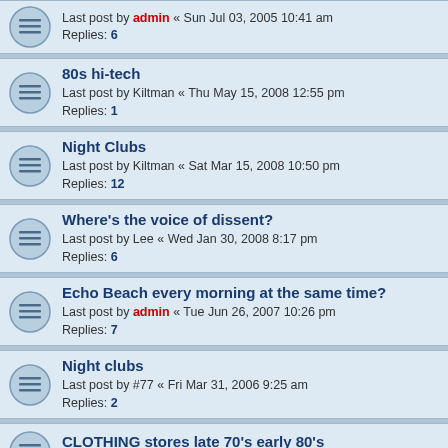Last post by admin « Sun Jul 03, 2005 10:41 am
Replies: 6
80s hi-tech
Last post by Kiltman « Thu May 15, 2008 12:55 pm
Replies: 1
Night Clubs
Last post by Kiltman « Sat Mar 15, 2008 10:50 pm
Replies: 12
Where's the voice of dissent?
Last post by Lee « Wed Jan 30, 2008 8:17 pm
Replies: 6
Echo Beach every morning at the same time?
Last post by admin « Tue Jun 26, 2007 10:26 pm
Replies: 7
Night clubs
Last post by #77 « Fri Mar 31, 2006 9:25 am
Replies: 2
CLOTHING stores late 70's early 80's
Last post by michiehanna « Mon Nov 21, 2005 5:17 pm
BEGGARS BANQUET MUSIC FESTIVALS
Last post by bgregory « Sun Jan 09, 2005 3:45 pm
Bueller's story pt.1
Last post by Bueller « Sun Oct 24, 2004 4:34 pm